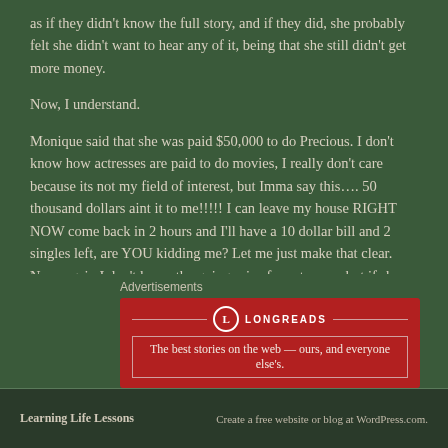as if they didn't know the full story, and if they did, she probably felt she didn't want to hear any of it, being that she still didn't get more money.
Now, I understand.
Monique said that she was paid $50,000 to do Precious. I don't know how actresses are paid to do movies, I really don't care because its not my field of interest, but Imma say this…. 50 thousand dollars aint it to me!!!!! I can leave my house RIGHT NOW come back in 2 hours and I'll have a 10 dollar bill and 2 singles left, are YOU kidding me? Let me just make that clear. Now, again I don't know the going price for actresses, but if she signed on to do it, let it be done!
Advertisements
[Figure (other): Longreads advertisement banner: red background with Longreads logo and tagline 'The best stories on the web — ours, and everyone else's.']
Learning Life Lessons    Create a free website or blog at WordPress.com.